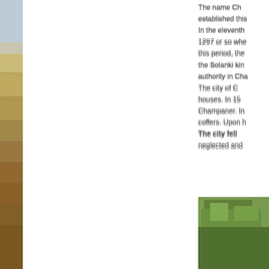[Figure (photo): Left strip photo showing a sandy beach/coastal landscape with sky above and sandy/rocky ground below]
The name Ch... established this... In the eleventh... 1297 or so whe... this period, the... the Solanki kin... authority in Cha... The city of C... houses. In 15... Champaner. In... coffers. Upon h... The city fell... neglected and...
[Figure (photo): Bottom left photo showing misty/foggy landscape]
[Figure (photo): Bottom right photo showing green trees/vegetation]